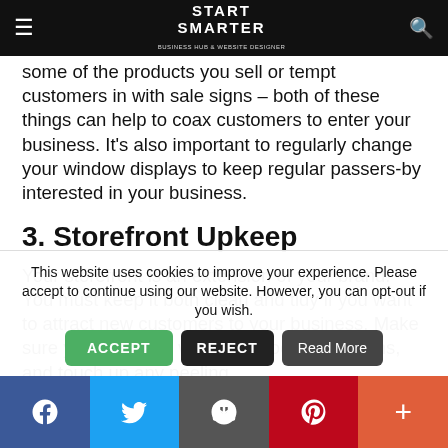START SMARTER — Business Hub & Website Designer
some of the products you sell or tempt customers in with sale signs – both of these things can help to coax customers to enter your business. It's also important to regularly change your window displays to keep regular passers-by interested in your business.
3. Storefront Upkeep
Your storefront is an extension of your brand. You must keep it both clean and tidy if you want to attract new customers to your business. Make sure you clean the windows, doors, and signs, and touch up any peeling
This website uses cookies to improve your experience. Please accept to continue using our website. However, you can opt-out if you wish.
Social share bar: Facebook, Twitter, Email, Pinterest, More